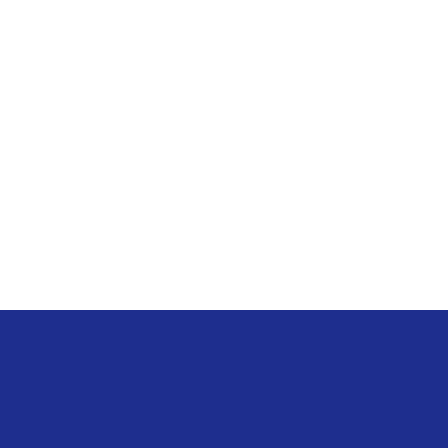[Figure (infographic): Dark blue banner section with yellow phone/call icon (handset with signal waves) and white bold text 'No Call Out Fees*' below it. A reCAPTCHA badge with logo and 'Privacy · Terms' text appears in the lower right corner.]
No Call Out Fees*